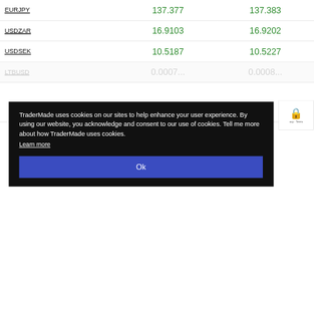| Pair | Bid | Ask |
| --- | --- | --- |
| EURJPY | 137.377 | 137.383 |
| USDZAR | 16.9103 | 16.9202 |
| USDSEK | 10.5187 | 10.5227 |
| LTBUSD | 0.0007... | 0.0008... |
TraderMade uses cookies on our sites to help enhance your user experience. By using our website, you acknowledge and consent to our use of cookies. Tell me more about how TraderMade uses cookies.
Learn more
Ok